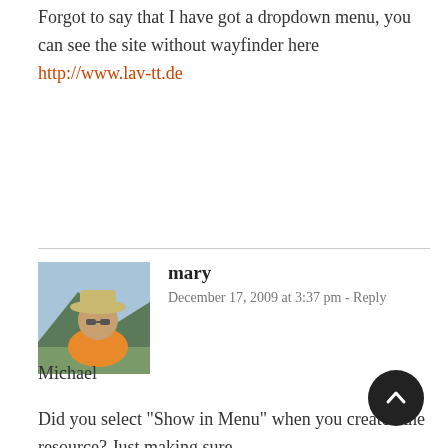Forgot to say that I have got a dropdown menu, you can see the site without wayfinder here http://www.lav-tt.de
mary
December 17, 2009 at 3:37 pm - Reply
Michael
Did you select “Show in Menu” when you created the resource? Just making sure.

The other thing that could be happening here is that you’re losing your styling and hence the menu is not showing. The Wayfinder snippet